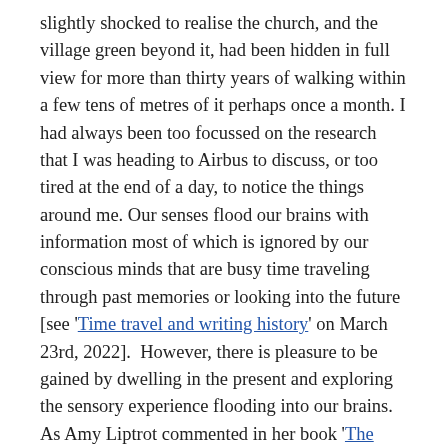slightly shocked to realise the church, and the village green beyond it, had been hidden in full view for more than thirty years of walking within a few tens of metres of it perhaps once a month. I had always been too focussed on the research that I was heading to Airbus to discuss, or too tired at the end of a day, to notice the things around me. Our senses flood our brains with information most of which is ignored by our conscious minds that are busy time traveling through past memories or looking into the future [see 'Time travel and writing history' on March 23rd, 2022].  However, there is pleasure to be gained by dwelling in the present and exploring the sensory experience flooding into our brains.  As Amy Liptrot commented in her book 'The Outrun', "the more I take the time to look at things, the more rewards and complexity I find".
Sources:
Enuma Okoro, The Pleasure Principle, FT Weekend, 19